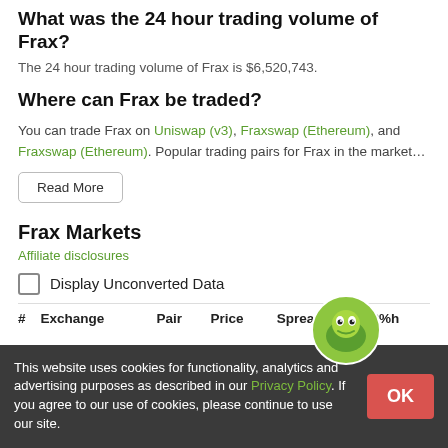What was the 24 hour trading volume of Frax?
The 24 hour trading volume of Frax is $6,520,743.
Where can Frax be traded?
You can trade Frax on Uniswap (v3), Fraxswap (Ethereum), and Fraxswap (Ethereum). Popular trading pairs for Frax in the market…
Read More
Frax Markets
Affiliate disclosures
Display Unconverted Data
| # | Exchange | Pair | Price | Spread | +2%h |
| --- | --- | --- | --- | --- | --- |
This website uses cookies for functionality, analytics and advertising purposes as described in our Privacy Policy. If you agree to our use of cookies, please continue to use our site.